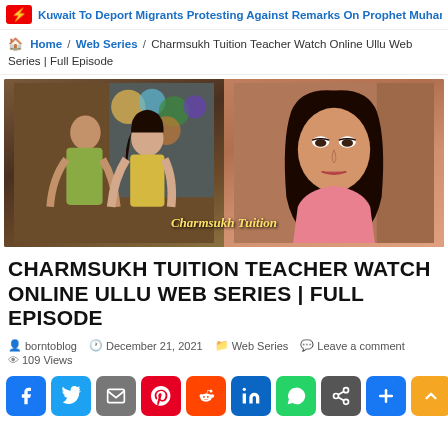Kuwait To Deport Migrants Protesting Against Remarks On Prophet Muhamm
🏠 Home / Web Series / Charmsukh Tuition Teacher Watch Online Ullu Web Series | Full Episode
[Figure (photo): Two-panel thumbnail image for Charmsukh Tuition Teacher web series. Left panel shows a man and woman in an intimate scene with colorful stained glass background. Right panel shows a woman in a pink outfit. Overlay text reads 'Charmsukh Tuition' in yellow italic font.]
CHARMSUKH TUITION TEACHER WATCH ONLINE ULLU WEB SERIES | FULL EPISODE
borntoblog   December 21, 2021   Web Series   Leave a comment   109 Views
[Figure (infographic): Social share buttons row: Facebook (blue), Twitter (blue), Email (grey), Pinterest (red), Reddit (orange), LinkedIn (blue), WhatsApp (green), Share (grey), Plus (blue), and an orange scroll-to-top button.]